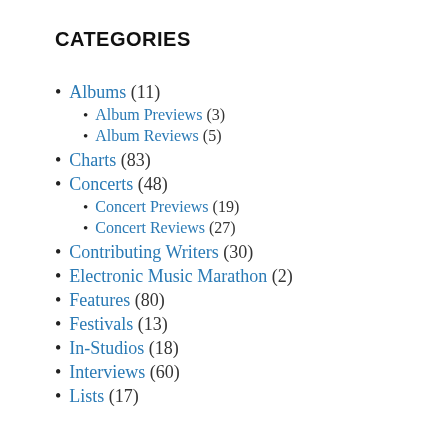CATEGORIES
Albums (11)
Album Previews (3)
Album Reviews (5)
Charts (83)
Concerts (48)
Concert Previews (19)
Concert Reviews (27)
Contributing Writers (30)
Electronic Music Marathon (2)
Features (80)
Festivals (13)
In-Studios (18)
Interviews (60)
Lists (17)